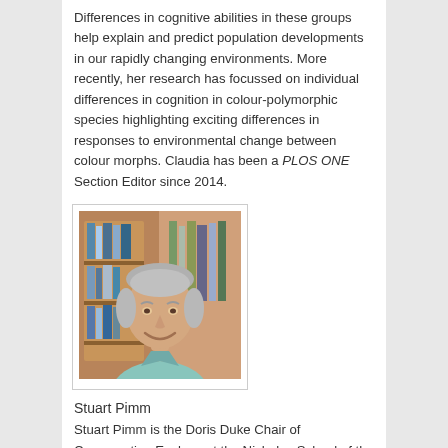Differences in cognitive abilities in these groups help explain and predict population developments in our rapidly changing environments. More recently, her research has focussed on individual differences in cognition in colour-polymorphic species highlighting exciting differences in responses to environmental change between colour morphs. Claudia has been a PLOS ONE Section Editor since 2014.
[Figure (photo): Portrait photo of Stuart Pimm, an older man with gray hair smiling, wearing a light blue shirt, with bookshelves in the background.]
Stuart Pimm
Stuart Pimm is the Doris Duke Chair of Conservation Ecology at the Nicholas School of the Environment at Duke University. He is a world leader in the study of